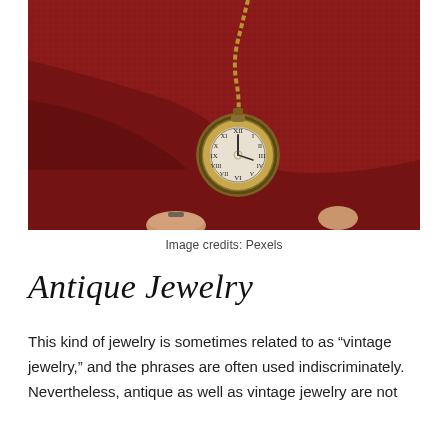[Figure (photo): Close-up photo of a vintage bronze pocket watch on a chain, held by fingers against a red textured fabric background. The watch face shows Roman numerals.]
Image credits: Pexels
Antique Jewelry
This kind of jewelry is sometimes related to as “vintage jewelry,” and the phrases are often used indiscriminately. Nevertheless, antique as well as vintage jewelry are not